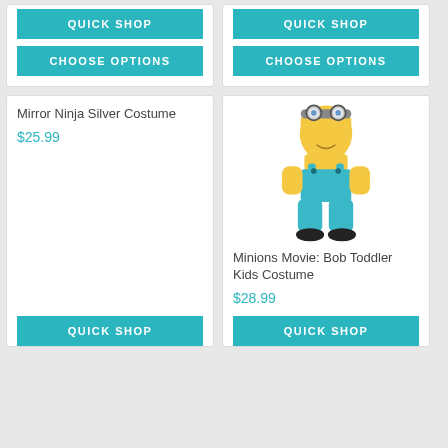QUICK SHOP
QUICK SHOP
CHOOSE OPTIONS
CHOOSE OPTIONS
Mirror Ninja Silver Costume
$25.99
[Figure (photo): Toddler dressed in Minions Bob costume with yellow top, blue overalls, and minion goggles hat]
Minions Movie: Bob Toddler Kids Costume
$28.99
QUICK SHOP
QUICK SHOP